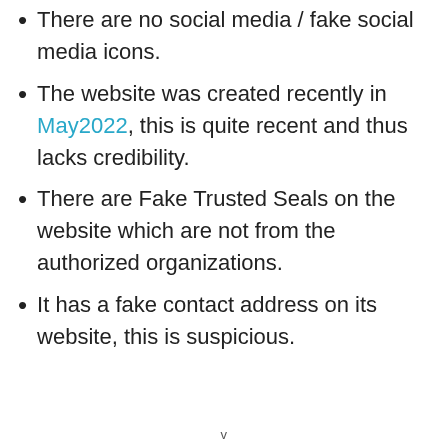There are no social media / fake social media icons.
The website was created recently in May2022, this is quite recent and thus lacks credibility.
There are Fake Trusted Seals on the website which are not from the authorized organizations.
It has a fake contact address on its website, this is suspicious.
v